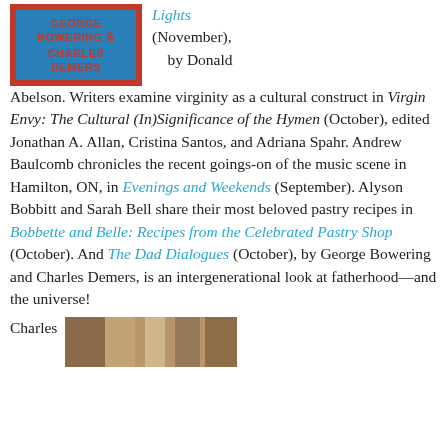[Figure (illustration): Book cover for The Dad Dialogues by George Bowering and Charles Demers, with red border and blue background, text in red uppercase letters]
Lights (November), by Donald Abelson. Writers examine virginity as a cultural construct in Virgin Envy: The Cultural (In)Significance of the Hymen (October), edited Jonathan A. Allan, Cristina Santos, and Adriana Spahr. Andrew Baulcomb chronicles the recent goings-on of the music scene in Hamilton, ON, in Evenings and Weekends (September). Alyson Bobbitt and Sarah Bell share their most beloved pastry recipes in Bobbette and Belle: Recipes from the Celebrated Pastry Shop (October). And The Dad Dialogues (October), by George Bowering and Charles Demers, is an intergenerational look at fatherhood—and the universe!
Charles
[Figure (photo): Partial photo of a person, warm brown tones]